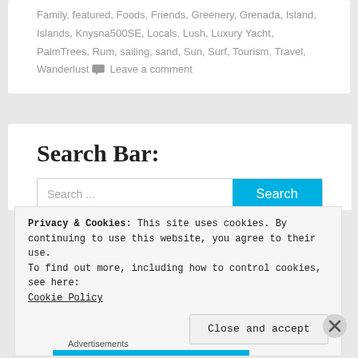Family, featured, Foods, Friends, Greenery, Grenada, Island, Islands, Knysna500SE, Locals, Lush, Luxury Yacht, PalmTrees, Rum, sailing, sand, Sun, Surf, Tourism, Travel, Wanderlust 💬 Leave a comment
Search Bar:
Search ...
Privacy & Cookies: This site uses cookies. By continuing to use this website, you agree to their use.
To find out more, including how to control cookies, see here:
Cookie Policy
Close and accept
Advertisements